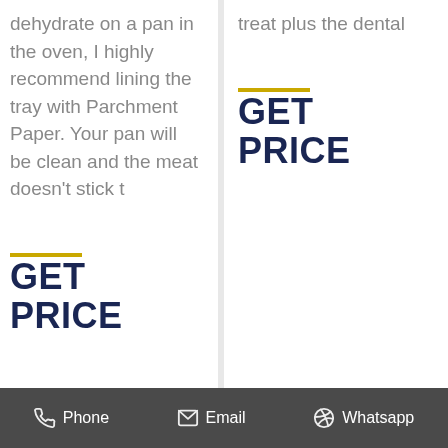dehydrate on a pan in the oven, I highly recommend lining the tray with Parchment Paper. Your pan will be clean and the meat doesn't stick t
GET PRICE
treat plus the dental
GET PRICE
Home – Plato
dog jerky
Phone   Email   Whatsapp